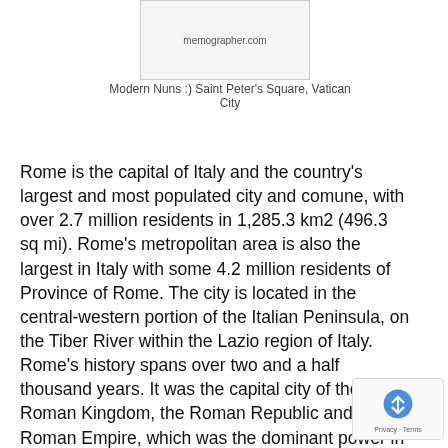[Figure (photo): Partial image box showing memographer.com watermark text]
Modern Nuns :) Saint Peter's Square, Vatican City
Rome is the capital of Italy and the country's largest and most populated city and comune, with over 2.7 million residents in 1,285.3 km2 (496.3 sq mi). Rome's metropolitan area is also the largest in Italy with some 4.2 million residents of Province of Rome. The city is located in the central-western portion of the Italian Peninsula, on the Tiber River within the Lazio region of Italy. Rome's history spans over two and a half thousand years. It was the capital city of the Roman Kingdom, the Roman Republic and the Roman Empire, which was the dominant power in Western Europe and the lands bordering the Mediterranean Sea for over seven hundred years from the 1st century BC until the 7th century AD. Since the 1st century AD Rome has been the seat of the Papacy and, after the end of Byzantine domination, in the 8th century it became the